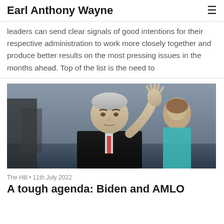Earl Anthony Wayne
leaders can send clear signals of good intentions for their respective administration to work more closely together and produce better results on the most pressing issues in the months ahead. Top of the list is the need to
[Figure (photo): Photo of a man (AMLO) waving with his right hand raised, wearing a dark suit. A woman is visible in the background to the right.]
The Hill • 11th July 2022
A tough agenda: Biden and AMLO